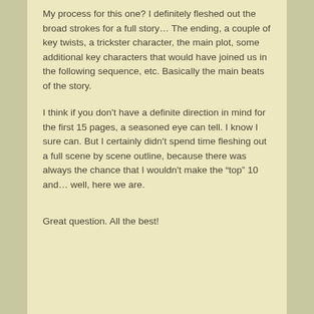My process for this one? I definitely fleshed out the broad strokes for a full story… The ending, a couple of key twists, a trickster character, the main plot, some additional key characters that would have joined us in the following sequence, etc. Basically the main beats of the story.
I think if you don't have a definite direction in mind for the first 15 pages, a seasoned eye can tell. I know I sure can. But I certainly didn't spend time fleshing out a full scene by scene outline, because there was always the chance that I wouldn't make the “top” 10 and… well, here we are.
Great question. All the best!